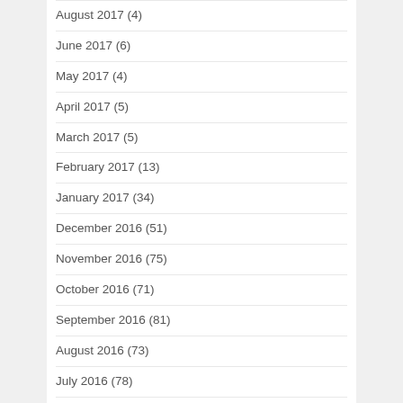August 2017 (4)
June 2017 (6)
May 2017 (4)
April 2017 (5)
March 2017 (5)
February 2017 (13)
January 2017 (34)
December 2016 (51)
November 2016 (75)
October 2016 (71)
September 2016 (81)
August 2016 (73)
July 2016 (78)
June 2016 (90)